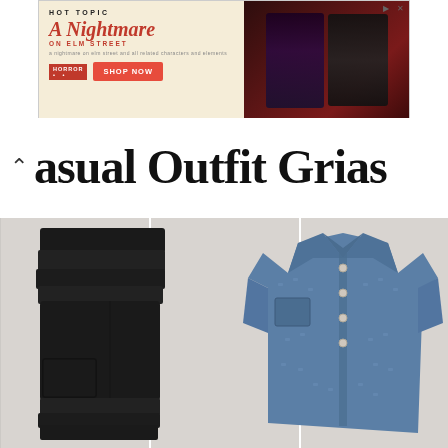[Figure (photo): Hot Topic A Nightmare on Elm Street advertisement banner with shop now button and two figures in dark clothing against a red curtain background]
Casual Outfit Grids
[Figure (photo): Flat lay of a casual outfit featuring black corduroy pants folded on the left and a blue patterned button-down shirt on the right, against a white paneled background]